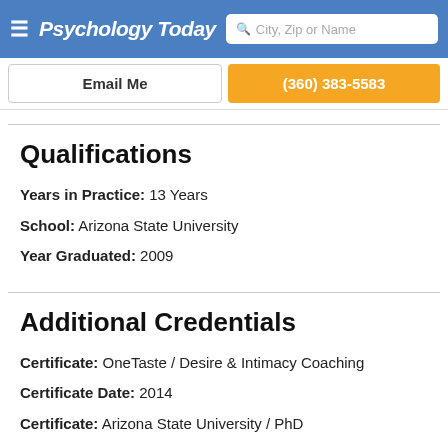Psychology Today — City, Zip or Name
Email Me | (360) 383-5583
Qualifications
Years in Practice: 13 Years
School: Arizona State University
Year Graduated: 2009
Additional Credentials
Certificate: OneTaste / Desire & Intimacy Coaching
Certificate Date: 2014
Certificate: Arizona State University / PhD
Certificate Date: 2009